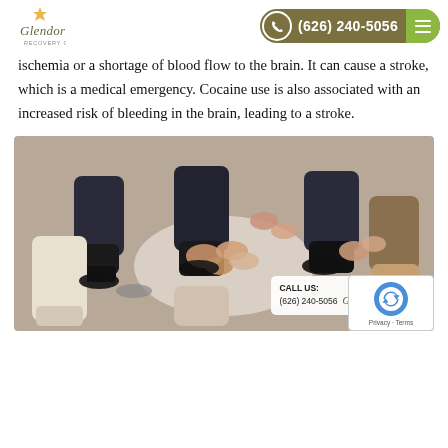[Figure (logo): Glendora Recovery Center logo with star/sunburst icon above italic script text]
[Figure (infographic): Phone number bar: (626) 240-5056 with phone icon circle on olive/dark yellow background and green hamburger menu button]
ischemia or a shortage of blood flow to the brain. It can cause a stroke, which is a medical emergency. Cocaine use is also associated with an increased risk of bleeding in the brain, leading to a stroke.
[Figure (photo): Group of people sitting in a circle holding hands, shot from above showing only legs and hands, suggesting a support group therapy session. Overlay shows CALL US: (626) 240-5056 with Glendora logo, and a reCAPTCHA badge.]